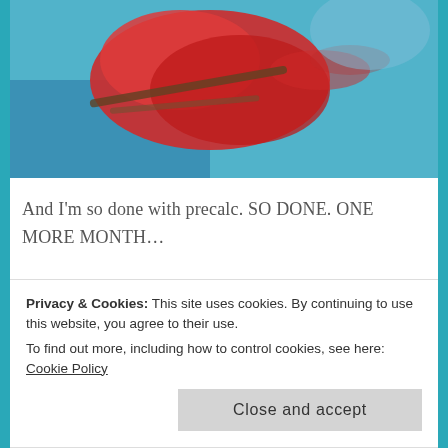[Figure (photo): Blurred image with red and blue tones, appears to be an abstract or motion-blurred photo]
And I'm so done with precalc. SO DONE. ONE MORE MONTH…
But other than that, I've had a pretty good reading month! I didn't get to read as much as I wanted to, but I got to read a whole bunch of my most anticipated reads of the year, and found a whole bunch of 5-star reads! All of my preorders seemed to
Privacy & Cookies: This site uses cookies. By continuing to use this website, you agree to their use.
To find out more, including how to control cookies, see here: Cookie Policy